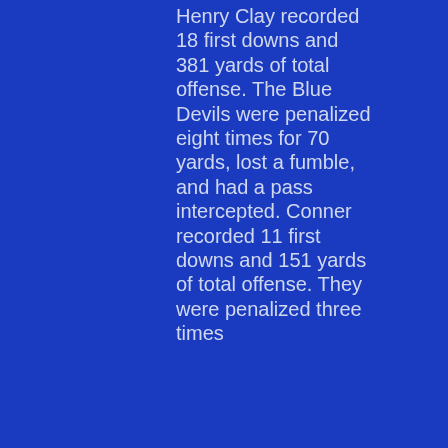Henry Clay recorded 18 first downs and 381 yards of total offense. The Blue Devils were penalized eight times for 70 yards, lost a fumble, and had a pass intercepted. Conner recorded 11 first downs and 151 yards of total offense. They were penalized three times